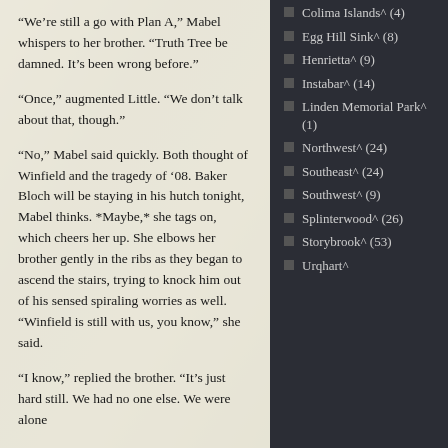“We’re still a go with Plan A,” Mabel whispers to her brother. “Truth Tree be damned. It’s been wrong before.”
“Once,” augmented Little. “We don’t talk about that, though.”
“No,” Mabel said quickly. Both thought of Winfield and the tragedy of ‘08. Baker Bloch will be staying in his hutch tonight, Mabel thinks. *Maybe,* she tags on, which cheers her up. She elbows her brother gently in the ribs as they began to ascend the stairs, trying to knock him out of his sensed spiraling worries as well. “Winfield is still with us, you know,” she said.
“I know,” replied the brother. “It’s just hard still. We had no one else. We were alone
Colima Islands^ (4)
Egg Hill Sink^ (8)
Henrietta^ (9)
Instabar^ (14)
Linden Memorial Park^ (1)
Northwest^ (24)
Southeast^ (24)
Southwest^ (9)
Splinterwood^ (26)
Storybrook^ (53)
Urqhart^